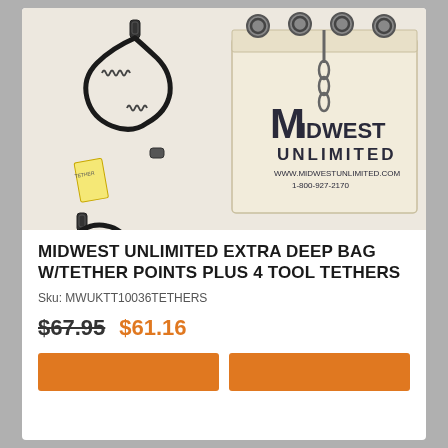[Figure (photo): Product photo showing two black bungee/elastic tool tethers with carabiners on left, and a cream/beige canvas tool bag with metal D-ring eyelets along the top and Midwest Unlimited branding (logo, www.midwestunlimited.com, 1-800-927-2170) on right. Background is off-white/cream.]
MIDWEST UNLIMITED EXTRA DEEP BAG W/TETHER POINTS PLUS 4 TOOL TETHERS
Sku: MWUKTT10036TETHERS
$67.95  $61.16